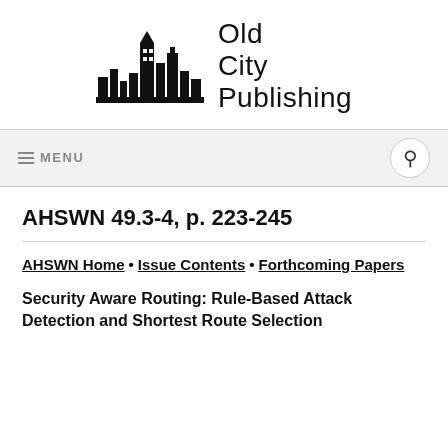[Figure (logo): Old City Publishing logo: black skyline silhouette with text 'Old City Publishing' to the right]
≡ MENU  🔍
AHSWN 49.3-4, p. 223-245
AHSWN Home • Issue Contents • Forthcoming Papers
Security Aware Routing: Rule-Based Attack Detection and Shortest Route Selection